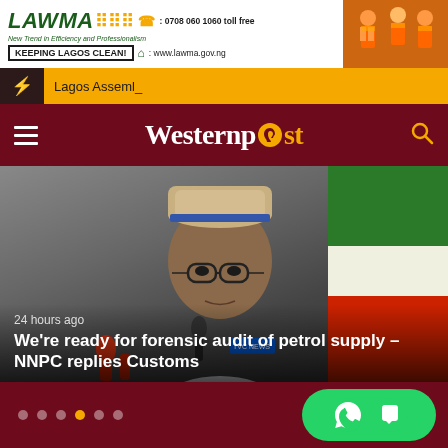[Figure (photo): LAWMA advertisement banner with logo, contact details, and workers in orange uniforms]
Lagos Assembl_
[Figure (logo): Westernpost newspaper logo on dark red header with hamburger menu and search icon]
[Figure (photo): Photo of a man in traditional Nigerian attire and embroidered cap at a press conference]
24 hours ago
We're ready for forensic audit of petrol supply – NNPC replies Customs
[Figure (other): WhatsApp contact buttons in green rounded rectangle]